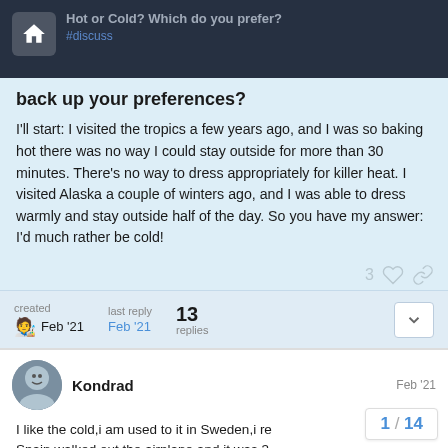Hot or Cold? Which do you prefer? #discuss
back up your preferences?
I'll start: I visited the tropics a few years ago, and I was so baking hot there was no way I could stay outside for more than 30 minutes. There's no way to dress appropriately for killer heat. I visited Alaska a couple of winters ago, and I was able to dress warmly and stay outside half of the day. So you have my answer: I'd much rather be cold!
3 ♡ 🔗
created Feb '21  last reply Feb '21  13 replies
Kondrad  Feb '21
I like the cold,i am used to it in Sweden,i re
Spain walked out the airplane and it was 3...
1 / 14